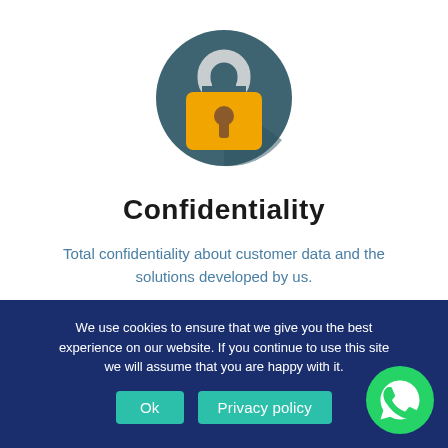[Figure (illustration): Flat design padlock icon: dark teal circular background with a yellow/orange padlock body and a grey shackle on top, featuring a keyhole in the center of the lock body.]
Confidentiality
Total confidentiality about customer data and the solutions developed by us.
We use cookies to ensure that we give you the best experience on our website. If you continue to use this site we will assume that you are happy with it.
[Figure (logo): Green circular WhatsApp logo with white phone handset icon.]